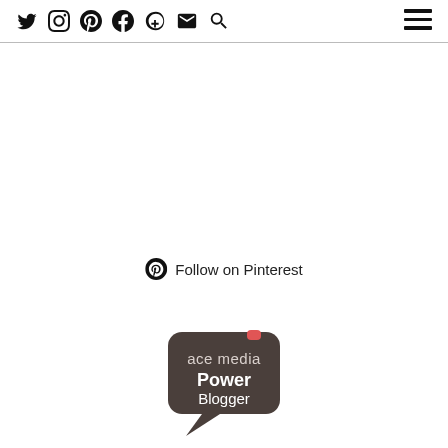Social media icons: Twitter, Instagram, Pinterest, Facebook, Plus, Email, Search | Hamburger menu
Follow on Pinterest
[Figure (logo): ace media Power Blogger badge - dark brown speech bubble shape with white text reading 'ace media Power Blogger' and a small red chat icon]